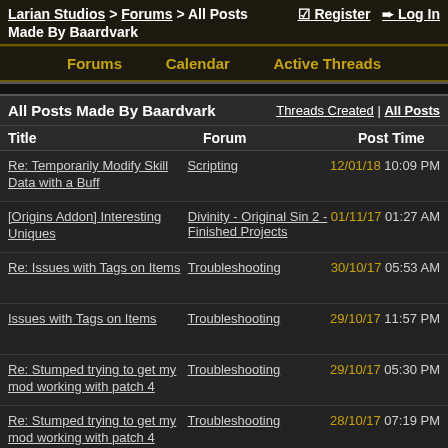Larian Studios > Forums > All Posts | Register | Log In
Made By Baardvark
Forums   Calendar   Active Threads
| All Posts Made By Baardvark | Threads Created | All Posts |  |
| --- | --- | --- |
| Title | Forum | Post Time |
| Re: Temporarily Modify Skill Data with a Buff | Scripting | 12/01/18 10:09 PM |
| [Origins Addon] Interesting Uniques | Divinity - Original Sin 2 - Finished Projects | 01/11/17 01:27 AM |
| Re: Issues with Tags on Items | Troubleshooting | 30/10/17 05:53 AM |
| Issues with Tags on Items | Troubleshooting | 29/10/17 11:57 PM |
| Re: Stumped trying to get my mod working with patch 4 | Troubleshooting | 29/10/17 05:30 PM |
| Re: Stumped trying to get my mod working with patch 4 | Troubleshooting | 28/10/17 07:19 PM |
| Re: Where do I find my | Troubleshooting | 12/10/17 05:40 AM |